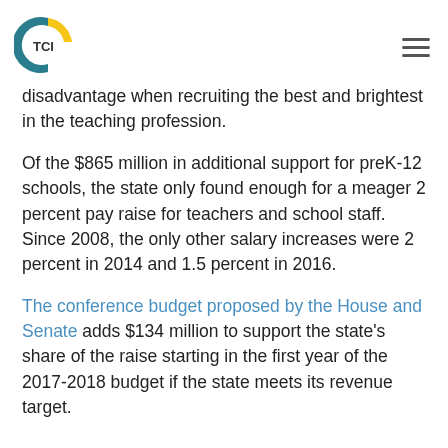TCI [logo] [hamburger menu]
disadvantage when recruiting the best and brightest in the teaching profession.
Of the $865 million in additional support for preK-12 schools, the state only found enough for a meager 2 percent pay raise for teachers and school staff. Since 2008, the only other salary increases were 2 percent in 2014 and 1.5 percent in 2016.
The conference budget proposed by the House and Senate adds $134 million to support the state's share of the raise starting in the first year of the 2017-2018 budget if the state meets its revenue target.